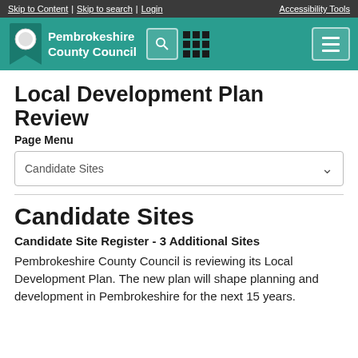Skip to Content | Skip to search | Login | Accessibility Tools
[Figure (logo): Pembrokeshire County Council logo with teal header bar, search icon, grid icon, and hamburger menu]
Local Development Plan Review
Page Menu
Candidate Sites
Candidate Sites
Candidate Site Register - 3 Additional Sites
Pembrokeshire County Council is reviewing its Local Development Plan. The new plan will shape planning and development in Pembrokeshire for the next 15 years.